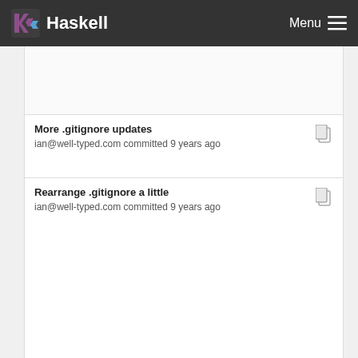Haskell | Menu
More .gitignore updates
ian@well-typed.com committed 9 years ago
Rearrange .gitignore a little
ian@well-typed.com committed 9 years ago
More .gitignore updates
ian@well-typed.com committed 9 years ago